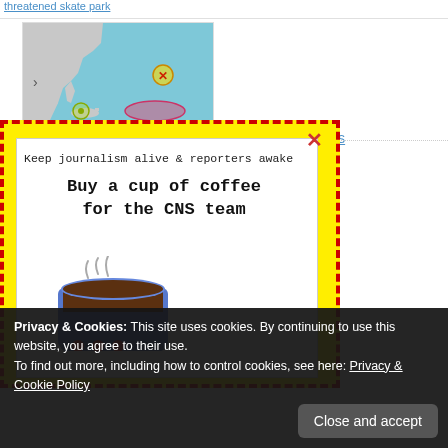threatened skate park
[Figure (map): Weather map showing Atlantic Ocean with tropical storm/hurricane tracking markers including a yellow/green circle near Caribbean and a pink/red oval shape indicating storm track, with an X marker in the Atlantic.]
as Atlantic brews
[Figure (infographic): Yellow dashed-border popup ad with white inner box. Text reads: 'Keep journalism alive & reporters awake' and 'Buy a cup of coffee for the CNS team' with an illustration of a steaming coffee cup. Has a red X close button.]
anti-corruption
Privacy & Cookies: This site uses cookies. By continuing to use this website, you agree to their use. To find out more, including how to control cookies, see here: Privacy & Cookie Policy
Close and accept